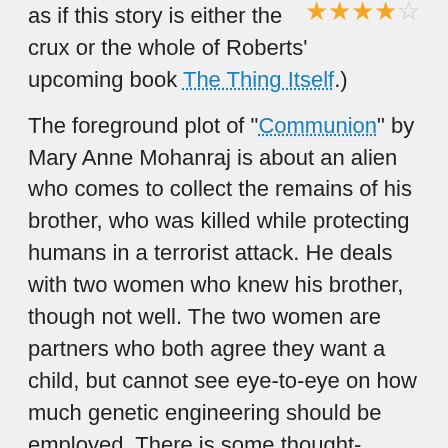as if this story is either the crux or the whole of Roberts' upcoming book The Thing Itself.) [4 out of 5 stars]
The foreground plot of "Communion" by Mary Anne Mohanraj is about an alien who comes to collect the remains of his brother, who was killed while protecting humans in a terrorist attack. He deals with two women who knew his brother, though not well. The two women are partners who both agree they want a child, but cannot see eye-to-eye on how much genetic engineering should be employed. There is some thought-provoking internal dialogue around this area, and it is ultimately the portrayal of human relationships and the contrast of alien culture that makes this story work. [3 out of 5 stars]
"Someday" by James Patrick Kelly takes place on a two